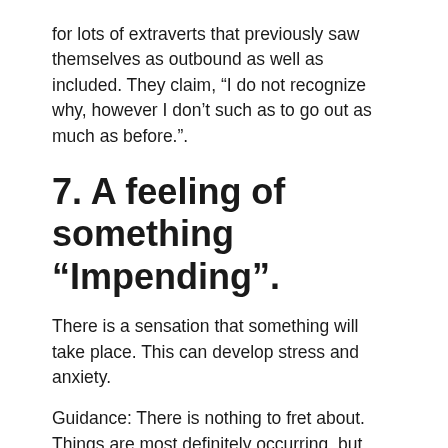for lots of extraverts that previously saw themselves as outbound as well as included. They claim, “I do not recognize why, however I don’t such as to go out as much as before.”.
7. A feeling of something “Impending”.
There is a sensation that something will take place. This can develop stress and anxiety.
Guidance: There is nothing to fret about. Things are most definitely occurring, but anxiety just creates even more issues for you.